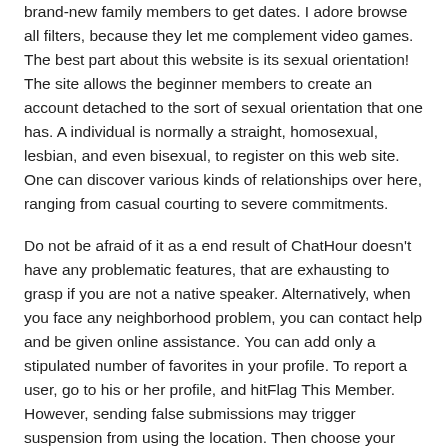brand-new family members to get dates. I adore browse all filters, because they let me complement video games. The best part about this website is its sexual orientation! The site allows the beginner members to create an account detached to the sort of sexual orientation that one has. A individual is normally a straight, homosexual, lesbian, and even bisexual, to register on this web site. One can discover various kinds of relationships over here, ranging from casual courting to severe commitments.
Do not be afraid of it as a end result of ChatHour doesn't have any problematic features, that are exhausting to grasp if you are not a native speaker. Alternatively, when you face any neighborhood problem, you can contact help and be given online assistance. You can add only a stipulated number of favorites in your profile. To report a user, go to his or her profile, and hitFlag This Member. However, sending false submissions may trigger suspension from using the location. Then choose your picture, clickDelete this Photo, and hitOk. All the options could probably be accessed free of charge, with out having to spend a single